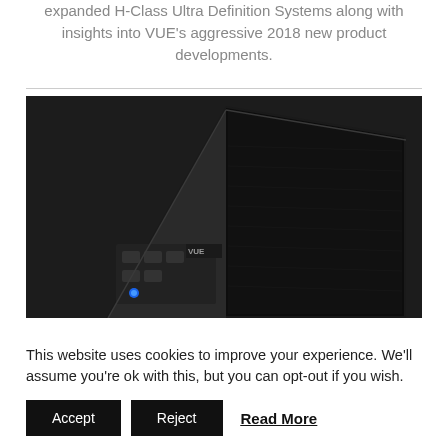expanded H-Class Ultra Definition Systems along with insights into VUE's aggressive 2018 new product developments.
[Figure (photo): A black VUE Audiotechnik professional speaker/monitor unit photographed from the rear angle, showing the speaker grille and connector panel with a blue power indicator light.]
This website uses cookies to improve your experience. We'll assume you're ok with this, but you can opt-out if you wish.
Accept | Reject | Read More